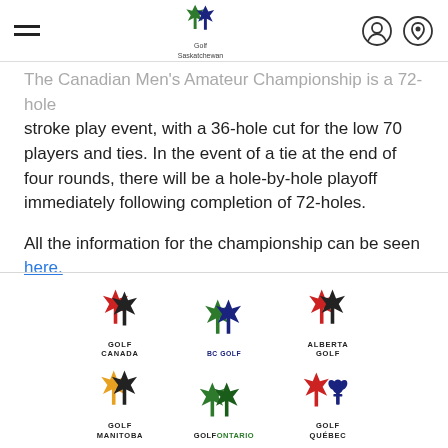Golf Saskatchewan
The Canadian Men's Amateur Championship is a 72-hole stroke play event, with a 36-hole cut for the low 70 players and ties. In the event of a tie at the end of four rounds, there will be a hole-by-hole playoff immediately following completion of 72-holes.
All the information for the championship can be seen here.
[Figure (logo): Six provincial and national golf organization logos: Golf Canada, BC Golf, Alberta Golf, Golf Manitoba, Golf Ontario, Golf Quebec]